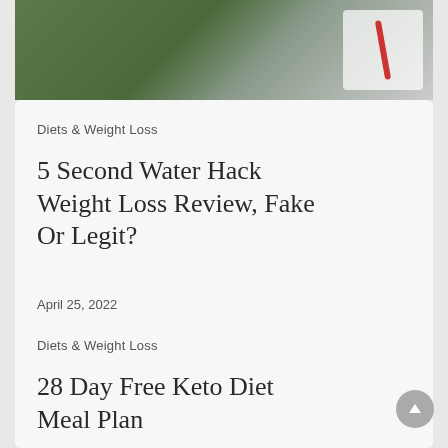[Figure (photo): Photo showing a hand near green plants and a white cup with a red straw, partially cropped at top]
Diets & Weight Loss
5 Second Water Hack Weight Loss Review, Fake Or Legit?
April 25, 2022
Diets & Weight Loss
28 Day Free Keto Diet Meal Plan